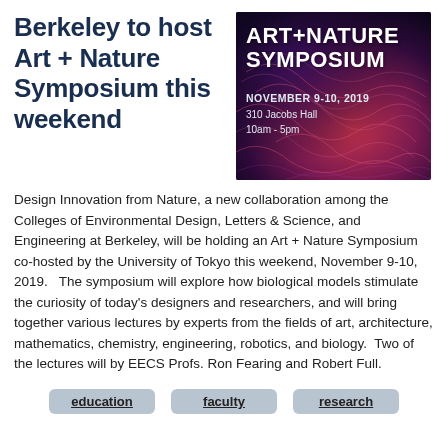Berkeley to host Art + Nature Symposium this weekend
[Figure (illustration): Art + Nature Symposium poster with dark purple/pink biological fiber background. Text reads: ART+NATURE SYMPOSIUM, NOVEMBER 9-10, 2019, 310 Jacobs Hall, 10am - 5pm]
Design Innovation from Nature, a new collaboration among the Colleges of Environmental Design, Letters & Science, and Engineering at Berkeley, will be holding an Art + Nature Symposium co-hosted by the University of Tokyo this weekend, November 9-10, 2019.   The symposium will explore how biological models stimulate the curiosity of today's designers and researchers, and will bring together various lectures by experts from the fields of art, architecture, mathematics, chemistry, engineering, robotics, and biology.  Two of the lectures will by EECS Profs. Ron Fearing and Robert Full.
education
faculty
research